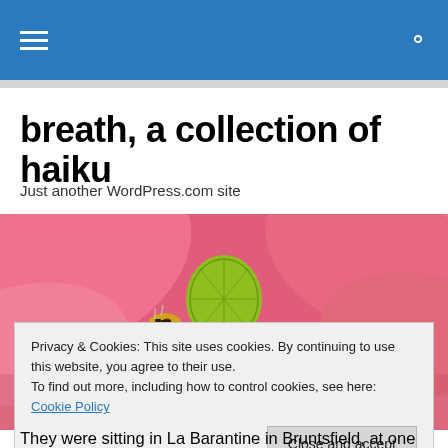breath, a collection of haiku — navigation header
breath, a collection of haiku
Just another WordPress.com site
[Figure (photo): Close-up photograph of a pink poppy flower with bees gathering around a green seed pod in the center, stamens visible]
Privacy & Cookies: This site uses cookies. By continuing to use this website, you agree to their use.
To find out more, including how to control cookies, see here: Cookie Policy
[Close and accept button]
They were sitting in La Barantine in Bruntsfield, at one of